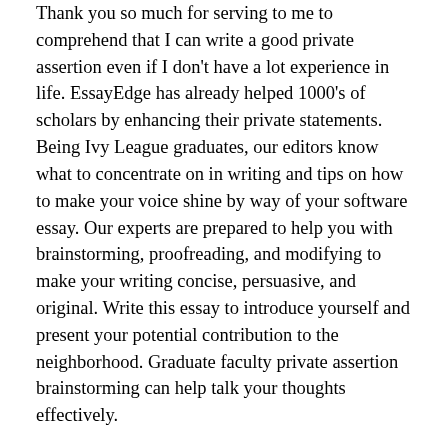Thank you so much for serving to me to comprehend that I can write a good private assertion even if I don't have a lot experience in life. EssayEdge has already helped 1000's of scholars by enhancing their private statements. Being Ivy League graduates, our editors know what to concentrate on in writing and tips on how to make your voice shine by way of your software essay. Our experts are prepared to help you with brainstorming, proofreading, and modifying to make your writing concise, persuasive, and original. Write this essay to introduce yourself and present your potential contribution to the neighborhood. Graduate faculty private assertion brainstorming can help talk your thoughts effectively.
Before they begin to write down for us, we confirm their skills and put them through exams to ensure they will consistently deliver the most effective work attainable, even with a good deadline. They are also required to follow our high-quality assurance protocol. They need to